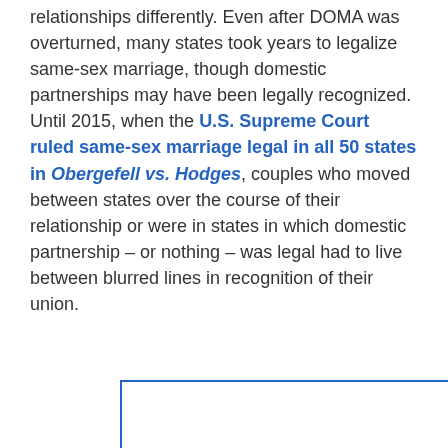relationships differently. Even after DOMA was overturned, many states took years to legalize same-sex marriage, though domestic partnerships may have been legally recognized. Until 2015, when the U.S. Supreme Court ruled same-sex marriage legal in all 50 states in Obergefell vs. Hodges, couples who moved between states over the course of their relationship or were in states in which domestic partnership – or nothing – was legal had to live between blurred lines in recognition of their union.
[Figure (other): Empty blue-bordered rectangle box, partially visible at bottom of page]